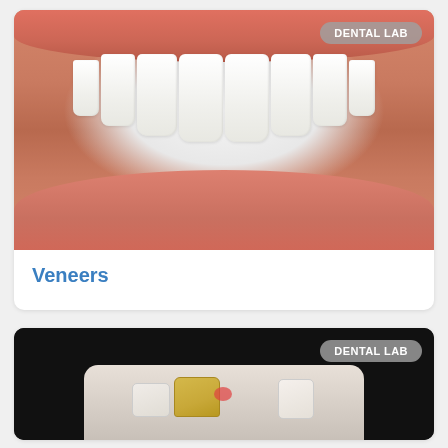[Figure (photo): Close-up photo of a person's smile showing white dental veneers on upper teeth, with lips visible. A 'DENTAL LAB' badge appears in the upper right corner.]
Veneers
[Figure (photo): Photo of a dental model/prosthetic showing teeth on a dark background. Model includes white and yellow-colored tooth preparations. A 'DENTAL LAB' badge appears in the upper right corner.]